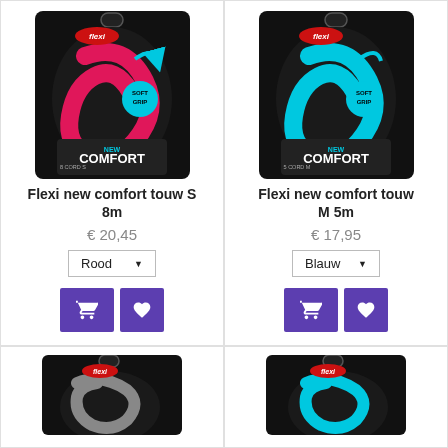[Figure (photo): Flexi new comfort touw S 8m product package in pink/red color on dark background]
Flexi new comfort touw S 8m
€ 20,45
Rood
[Figure (photo): Flexi new comfort touw M 5m product package in blue/teal color on dark background]
Flexi new comfort touw M 5m
€ 17,95
Blauw
[Figure (photo): Flexi product package partially visible at bottom left]
[Figure (photo): Flexi product package partially visible at bottom right]